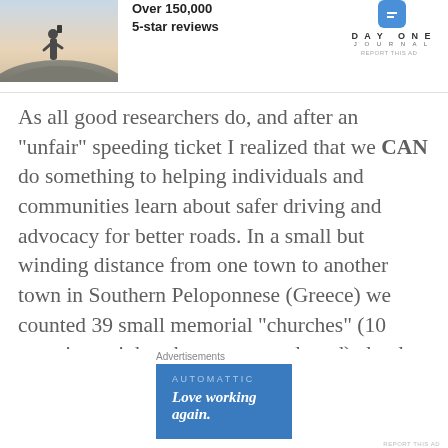[Figure (photo): Top ad banner with photo of person on cliff, Day One Journal app promotion: Over 150,000 5-star reviews]
As all good researchers do, and after an “unfair” speeding ticket I realized that we CAN do something to helping individuals and communities learn about safer driving and advocacy for better roads. In a small but winding distance from one town to another town in Southern Peloponnese (Greece) we counted 39 small memorial “churches” (10 were in straight others on curved road) clearly speeding, two-way traffic, bad weather conditions. malfunction of vehicle or
[Figure (infographic): Bottom advertisement banner: Automattic - Love working again.]